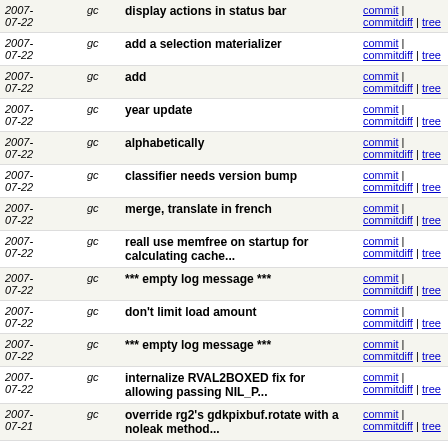| Date | Author | Commit Message | Links |
| --- | --- | --- | --- |
| 2007-07-22 | gc | display actions in status bar | commit | commitdiff | tree |
| 2007-07-22 | gc | add a selection materializer | commit | commitdiff | tree |
| 2007-07-22 | gc | add | commit | commitdiff | tree |
| 2007-07-22 | gc | year update | commit | commitdiff | tree |
| 2007-07-22 | gc | alphabetically | commit | commitdiff | tree |
| 2007-07-22 | gc | classifier needs version bump | commit | commitdiff | tree |
| 2007-07-22 | gc | merge, translate in french | commit | commitdiff | tree |
| 2007-07-22 | gc | reall use memfree on startup for calculating cache... | commit | commitdiff | tree |
| 2007-07-22 | gc | *** empty log message *** | commit | commitdiff | tree |
| 2007-07-22 | gc | don't limit load amount | commit | commitdiff | tree |
| 2007-07-22 | gc | *** empty log message *** | commit | commitdiff | tree |
| 2007-07-22 | gc | internalize RVAL2BOXED fix for allowing passing NIL_P... | commit | commitdiff | tree |
| 2007-07-21 | gc | override rg2's gdkpixbuf.rotate with a noleak method... | commit | commitdiff | tree |